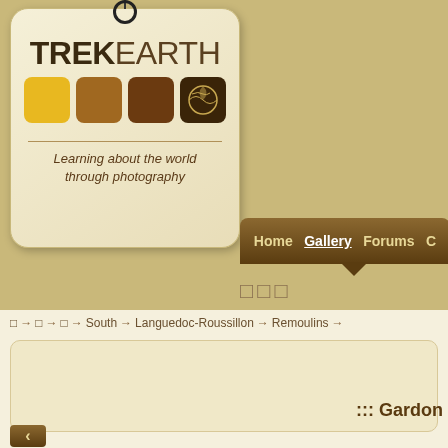[Figure (logo): TrekEarth logo tag with colored squares and world map icon, tagline 'Learning about the world through photography']
Home   Gallery   Forums   C...
□□□
□ → □ → □ → South → Languedoc-Roussillon → Remoulins →
::: Gardon